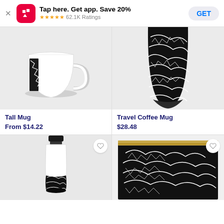[Figure (screenshot): App banner with RB logo, 'Tap here. Get app. Save 20%' text, 5-star rating with 62.1K Ratings, and GET button]
[Figure (photo): White tall mug with black abstract pattern on gray background]
[Figure (photo): Black travel coffee mug with white abstract pattern on gray background]
Tall Mug
From $14.22
Travel Coffee Mug
$28.48
[Figure (photo): White water bottle with black cap and black abstract pattern on bottom half, on gray background]
[Figure (photo): Black pouch/wallet with white abstract pattern and gold zipper, on white background]